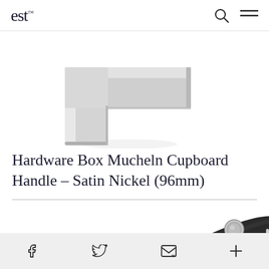est
[Figure (photo): Close-up photo of a square/rectangular satin nickel cupboard handle (Hardware Box Mucheln) showing the angular metallic form against a white background, cropped to show just the handle shape.]
Hardware Box Mucheln Cupboard Handle – Satin Nickel (96mm)
[Figure (photo): Partial photo of a dark leather/fabric cupboard pull handle with a circular metal stud/rivet, showing the curved strap shape against a white background, cropped at the bottom of the page.]
f  (twitter bird)  (email envelope)  +